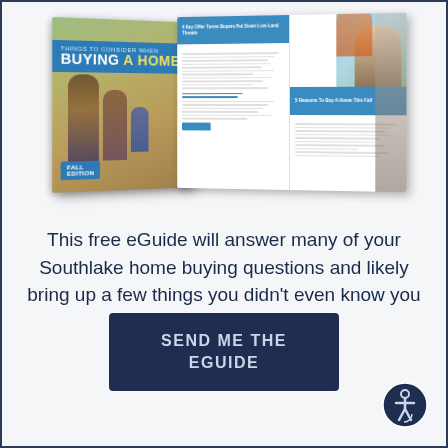[Figure (illustration): A book cover titled 'BUYING A HOME' with a family on the cover (fall edition), shown alongside open pages of the eGuide with text and photos.]
This free eGuide will answer many of your Southlake home buying questions and likely bring up a few things you didn't even know you should consider.
SEND ME THE EGUIDE